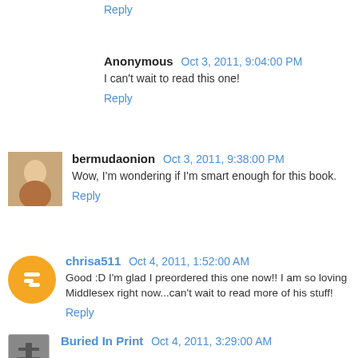Reply
Anonymous  Oct 3, 2011, 9:04:00 PM
I can't wait to read this one!
Reply
bermudaonion  Oct 3, 2011, 9:38:00 PM
Wow, I'm wondering if I'm smart enough for this book.
Reply
chrisa511  Oct 4, 2011, 1:52:00 AM
Good :D I'm glad I preordered this one now!! I am so loving Middlesex right now...can't wait to read more of his stuff!
Reply
Buried In Print  Oct 4, 2011, 3:29:00 AM